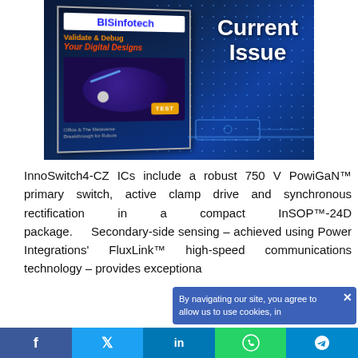[Figure (illustration): BISinfotech magazine cover banner with text 'Current Issue'. Magazine shows 'Validate & Debug Your Digital Designs' headline with a TEST badge on a circuit board display. Background has blue circuit board pattern with dot matrix.]
InnoSwitch4-CZ ICs include a robust 750 V PowiGaN™ primary switch, active clamp drive and synchronous rectification in a compact InSOP™-24D package. Secondary-side sensing – achieved using Power Integrations' FluxLink™ high-speed communications technology – provides exceptiona
By navigating our site, you agree to allow us to use cookies, in
f   𝕏   in   WhatsApp   Telegram